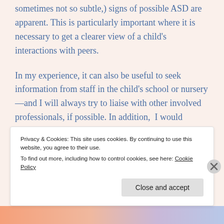sometimes not so subtle,) signs of possible ASD are apparent. This is particularly important where it is necessary to get a clearer view of a child's interactions with peers.
In my experience, it can also be useful to seek information from staff in the child's school or nursery—and I will always try to liaise with other involved professionals, if possible. In addition, I would always recommend that parents also
Privacy & Cookies: This site uses cookies. By continuing to use this website, you agree to their use.
To find out more, including how to control cookies, see here: Cookie Policy